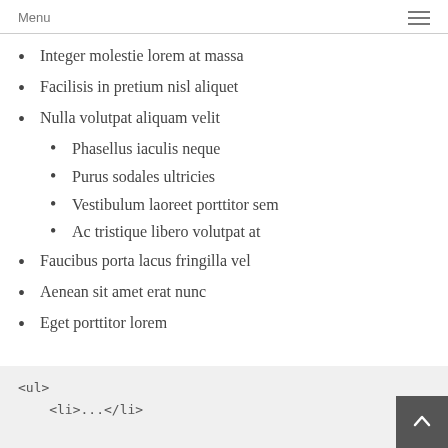Menu
Integer molestie lorem at massa
Facilisis in pretium nisl aliquet
Nulla volutpat aliquam velit
Phasellus iaculis neque
Purus sodales ultricies
Vestibulum laoreet porttitor sem
Ac tristique libero volutpat at
Faucibus porta lacus fringilla vel
Aenean sit amet erat nunc
Eget porttitor lorem
<ul>
    <li>...</li>